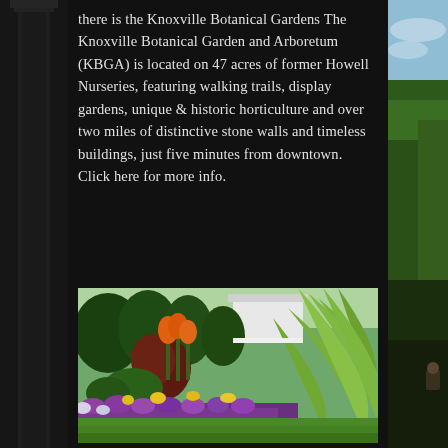there is the Knoxville Botanical Gardens The Knoxville Botanical Garden and Arboretum (KBGA) is located on 47 acres of former Howell Nurseries, featuring walking trails, display gardens, unique & historic horticulture and over two miles of distinctive stone walls and timeless buildings, just five minutes from downtown. Click here for more info.
[Figure (photo): A colorful botanical garden scene with orange tropical flowers (cannas), lush green foliage including large agave-like leaves on the right, purple and yellow flowering plants in beds, green lawn, and a white building visible in the background among trees.]